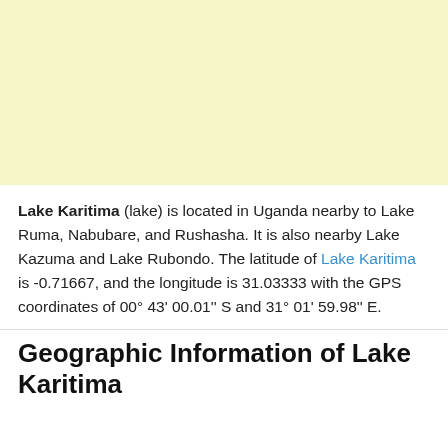[Figure (map): A light yellow/cream colored map area placeholder showing the geographic region around Lake Karitima in Uganda.]
Lake Karitima (lake) is located in Uganda nearby to Lake Ruma, Nabubare, and Rushasha. It is also nearby Lake Kazuma and Lake Rubondo. The latitude of Lake Karitima is -0.71667, and the longitude is 31.03333 with the GPS coordinates of 00° 43' 00.01'' S and 31° 01' 59.98'' E.
Geographic Information of Lake Karitima